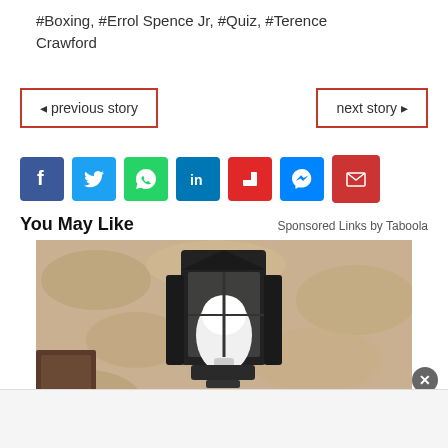#Boxing, #Errol Spence Jr, #Quiz, #Terence Crawford
◄ previous story
next story ►
[Figure (other): Social share icons: Facebook (blue), Twitter (blue), WhatsApp (green), LinkedIn (blue), Flipboard (red), Messenger (blue), Email (red with envelope)]
You May Like
Sponsored Links by Taboola
[Figure (photo): Close-up photo of a black lantern wall light fixture with a white LED bulb, mounted on a textured stone or stucco wall]